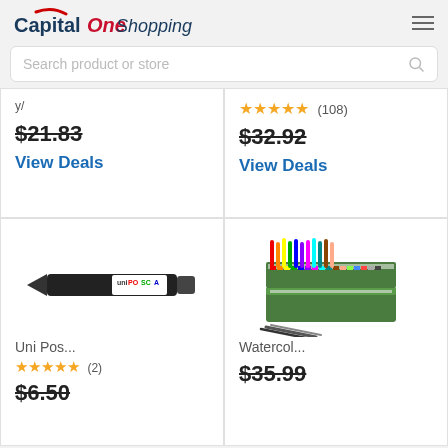[Figure (logo): Capital One Shopping logo with red swoosh above O, and hamburger menu icon]
Search product or store
★★★★★ (108)
$32.92
View Deals
$21.83
View Deals
[Figure (photo): Uni Posca marker pen, black body with white/color label]
Uni Pos...
★★★★★ (2)
$6.50
[Figure (photo): Watercolor colored pencils set in green box packaging]
Watercol...
$35.99